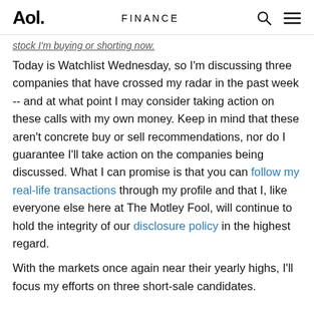Aol. | FINANCE
stock I'm buying or shorting now.
Today is Watchlist Wednesday, so I'm discussing three companies that have crossed my radar in the past week -- and at what point I may consider taking action on these calls with my own money. Keep in mind that these aren't concrete buy or sell recommendations, nor do I guarantee I'll take action on the companies being discussed. What I can promise is that you can follow my real-life transactions through my profile and that I, like everyone else here at The Motley Fool, will continue to hold the integrity of our disclosure policy in the highest regard.
With the markets once again near their yearly highs, I'll focus my efforts on three short-sale candidates.